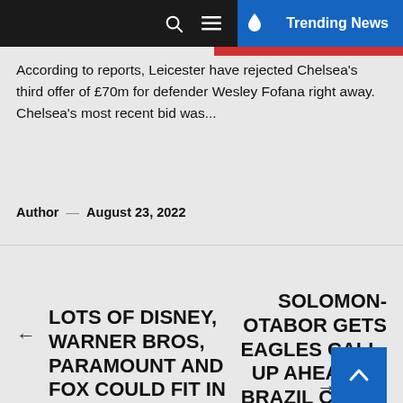Trending News
According to reports, Leicester have rejected Chelsea's third offer of £70m for defender Wesley Fofana right away. Chelsea's most recent bid was...
Author — August 23, 2022
LOTS OF DISNEY, WARNER BROS, PARAMOUNT AND FOX COULD FIT IN TYLER PERRY'S NEW STUDIO AND 60
SOLOMON-OTABOR GETS EAGLES CALL-UP AHEAD OF BRAZIL CLASH